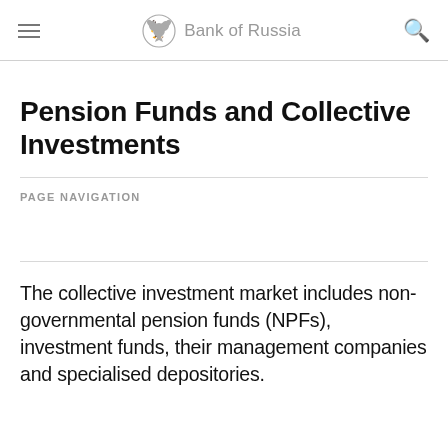Bank of Russia
Pension Funds and Collective Investments
PAGE NAVIGATION
The collective investment market includes non-governmental pension funds (NPFs), investment funds, their management companies and specialised depositories.